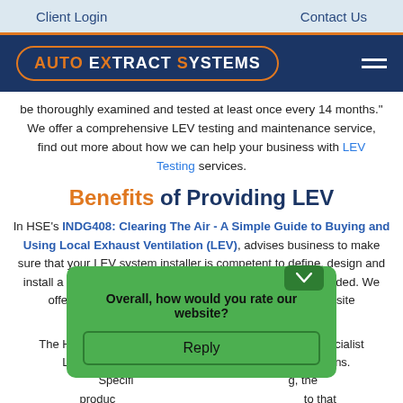Client Login   Contact Us
[Figure (logo): Auto Extract Systems logo on dark blue background with hamburger menu]
be thoroughly examined and tested at least once every 14 months." We offer a comprehensive LEV testing and maintenance service, find out more about how we can help your business with LEV Testing services.
Benefits of Providing LEV
In HSE's INDG408: Clearing The Air - A Simple Guide to Buying and Using Local Exhaust Ventilation (LEV), advises business to make sure that your LEV system installer is competent to define, design and install a suitable LEV system to meet the performance intended. We offer a full LEV Installation service, and we offer FREE site assessments too!
The HSE recommends that employers should seek specialist LEV training from specialists to make decisions. Specifically the product... to that contaminant... Exposure